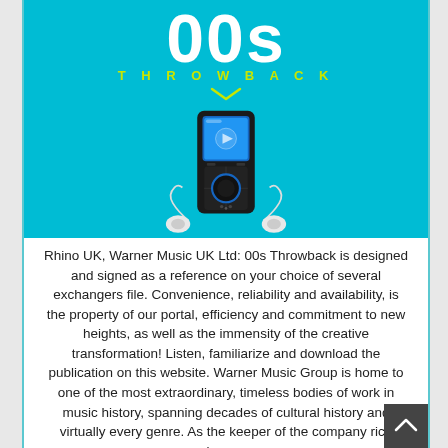[Figure (illustration): 00s Throwback promotional image featuring a black MP3 player with earbuds on a cyan/teal background, with large '00s' text and 'THROWBACK' subtitle in yellow-green]
Rhino UK, Warner Music UK Ltd: 00s Throwback is designed and signed as a reference on your choice of several exchangers file. Convenience, reliability and availability, is the property of our portal, efficiency and commitment to new heights, as well as the immensity of the creative transformation! Listen, familiarize and download the publication on this website. Warner Music Group is home to one of the most extraordinary, timeless bodies of work in music history, spanning decades of cultural history and virtually every genre. As the keeper of the company rich legacy...